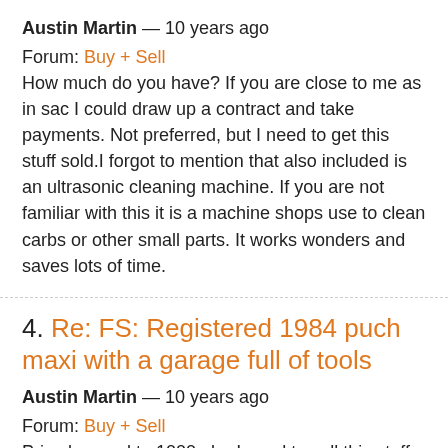Austin Martin — 10 years ago
Forum: Buy + Sell
How much do you have? If you are close to me as in sac I could draw up a contract and take payments. Not preferred, but I need to get this stuff sold.I forgot to mention that also included is an ultrasonic cleaning machine. If you are not familiar with this it is a machine shops use to clean carbs or other small parts. It works wonders and saves lots of time.
4. Re: FS: Registered 1984 puch maxi with a garage full of tools
Austin Martin — 10 years ago
Forum: Buy + Sell
Price lowered to 1000 obo I need to sell this stuff asap, so I will also take trades for an ipad 2 or macbook pro please.